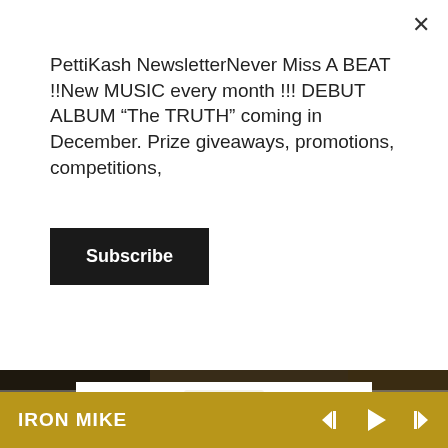PettiKash NewsletterNever Miss A BEAT !!New MUSIC every month !!! DEBUT ALBUM “The TRUTH” coming in December. Prize giveaways, promotions, competitions,
Subscribe
[Figure (photo): Merch shop banner showing a black long-sleeve shirt, a white t-shirt with BOSS text, and a small gift box, with text 'VISIT OUR MERCH SHOP TODAY']
BOSS MERCH BUNDLE
$150.00
IRON MIKE